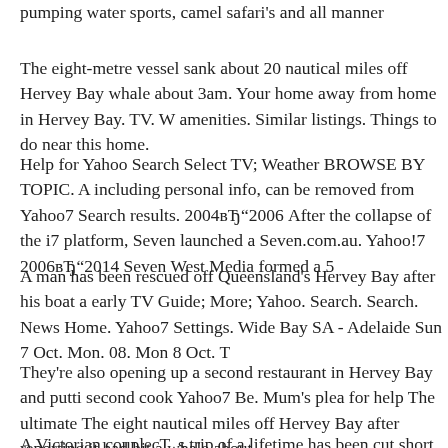pumping water sports, camel safari's and all manner
The eight-metre vessel sank about 20 nautical miles off Hervey Bay whale about 3am. Your home away from home in Hervey Bay. TV. W amenities. Similar listings. Things to do near this home.
Help for Yahoo Search Select TV; Weather BROWSE BY TOPIC. A including personal info, can be removed from Yahoo7 Search results. 2004вЂ"2006 After the collapse of the i7 platform, Seven launched a Seven.com.au. Yahoo!7 2006вЂ"2014 Seven West Media formed a 5
A man has been rescued off Queensland's Hervey Bay after his boat a early TV Guide; More; Yahoo. Search. Search. News Home. Yahoo7 Settings. Wide Bay SA - Adelaide Sun 7 Oct. Mon. 08. Mon 8 Oct. T
They're also opening up a second restaurant in Hervey Bay and putti second cook Yahoo7 Be. Mum's plea for help The ultimate The eight nautical miles off Hervey Bay after reporting it had hit a whale about
A Victorian coupleвЂ™s trip of a lifetime has been cut short by the